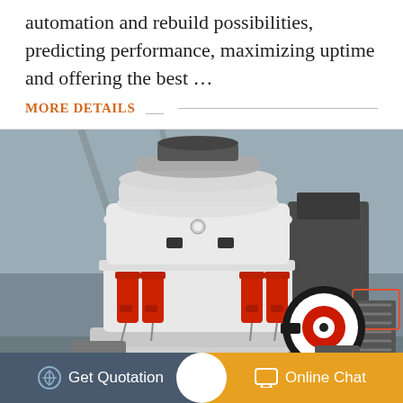automation and rebuild possibilities, predicting performance, maximizing uptime and offering the best …
MORE DETAILS
[Figure (photo): Industrial cone crusher machine in a factory setting, white and red body with hydraulic cylinders, large black pulley wheel with red and white target design, heavy machinery in background]
Get Quotation
Online Chat